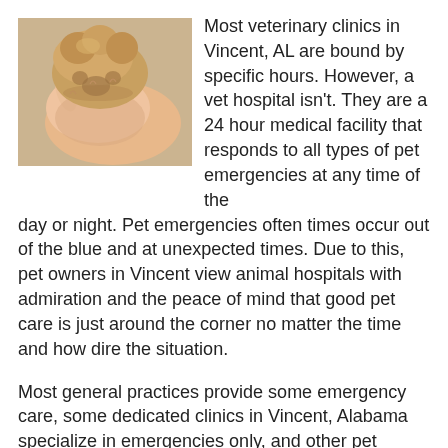[Figure (photo): A human hand gently holding a dog's paw, close-up photo.]
Most veterinary clinics in Vincent, AL are bound by specific hours. However, a vet hospital isn't. They are a 24 hour medical facility that responds to all types of pet emergencies at any time of the day or night. Pet emergencies often times occur out of the blue and at unexpected times. Due to this, pet owners in Vincent view animal hospitals with admiration and the peace of mind that good pet care is just around the corner no matter the time and how dire the situation.
Most general practices provide some emergency care, some dedicated clinics in Vincent, Alabama specialize in emergencies only, and other pet health care facilities provide a spectrum of services, including emergency care. About 15 percent of small animal practices in the U.S. are accredited by the